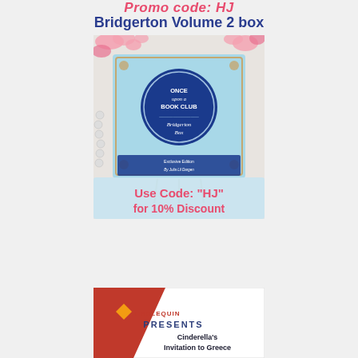Promo code: HJ
Bridgerton Volume 2 box
[Figure (photo): A light blue decorative box labeled 'Once Upon a Book Club - Bridgerton Box - Exclusive Edition by Julia Li Dargen', surrounded by pink flowers and white beads, with a 'Use Code: HJ for 10% Discount' overlay banner at the bottom in pink text on a light blue/white background.]
[Figure (photo): Harlequin Presents book cover showing 'Cinderella's Invitation to Greece' with a red geometric design and the Harlequin diamond logo.]